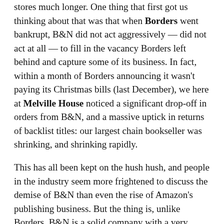stores much longer. One thing that first got us thinking about that was that when Borders went bankrupt, B&N did not act aggressively — did not act at all — to fill in the vacancy Borders left behind and capture some of its business. In fact, within a month of Borders announcing it wasn't paying its Christmas bills (last December), we here at Melville House noticed a significant drop-off in orders from B&N, and a massive uptick in returns of backlist titles: our largest chain bookseller was shrinking, and shrinking rapidly.
This has all been kept on the hush hush, and people in the industry seem more frightened to discuss the demise of B&N than even the rise of Amazon's publishing business. But the thing is, unlike Borders, B&N is a solid company with a very smart executive team. They are not on the verge of bankruptcy. So what's going on?
Well, as we said in our Borders wrap-up (linked above), our observation is that B&N plans to devote a rapidly increasing amount of attention to higher margin items, and our prediction is that it plans to do it online … yep, just like